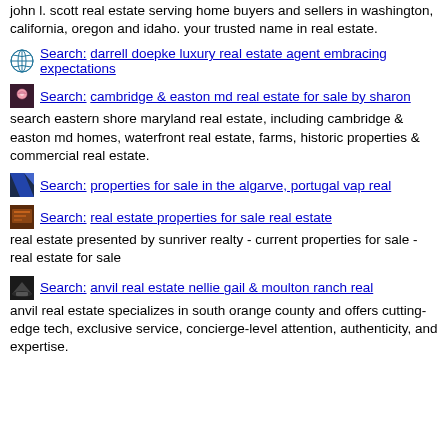john l. scott real estate serving home buyers and sellers in washington, california, oregon and idaho. your trusted name in real estate.
Search: darrell doepke luxury real estate agent embracing expectations
Search: cambridge & easton md real estate for sale by sharon
search eastern shore maryland real estate, including cambridge & easton md homes, waterfront real estate, farms, historic properties & commercial real estate.
Search: properties for sale in the algarve, portugal vap real
Search: real estate properties for sale real estate
real estate presented by sunriver realty - current properties for sale - real estate for sale
Search: anvil real estate nellie gail & moulton ranch real
anvil real estate specializes in south orange county and offers cutting-edge tech, exclusive service, concierge-level attention, authenticity, and expertise.